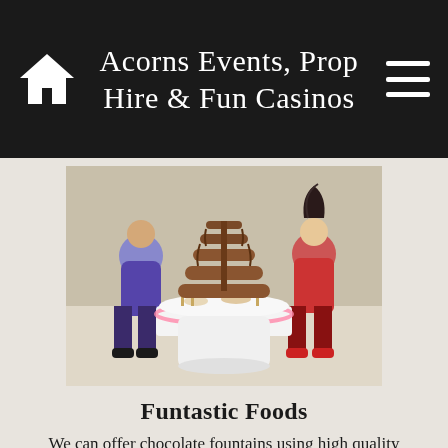Acorns Events, Prop Hire & Fun Casinos
[Figure (photo): Two women standing beside a chocolate fountain on a illuminated round white table with dippers and toppings]
Funtastic Foods
We can offer chocolate fountains using high quality chocolate and a selection of dippers. We also have candy carts, candy floss &